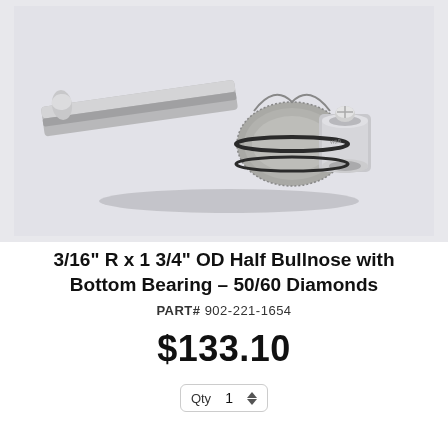[Figure (photo): A diamond router bit with a cylindrical shank on the left, a textured/abrasive bullnose profile wheel in the center, and a bottom bearing assembly on the right. The tool is photographed on a light gray background.]
3/16" R x 1 3/4" OD Half Bullnose with Bottom Bearing – 50/60 Diamonds
PART# 902-221-1654
$133.10
Qty 1